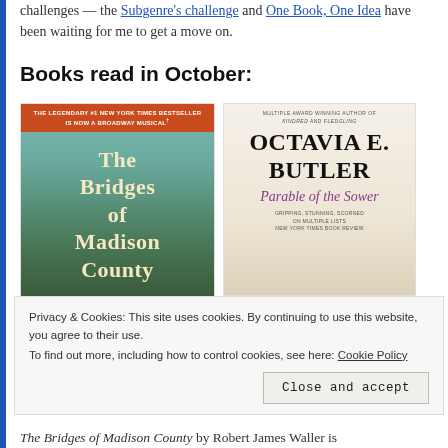challenges — the Subgenre's challenge and One Book, One Idea have been waiting for me to get a move on.
Books read in October:
[Figure (photo): Book cover of 'The Bridges of Madison County' with orange banner at top reading 'THE LEGENDARY #1 NEW YORK TIMES BESTSELLER IS NOW A BROADWAY MUSICAL' and large stylized title text on teal/green background.]
[Figure (photo): Book cover of 'Parable of the Sower' by Octavia E. Butler with subtitle and blurb text on light/cream background.]
Privacy & Cookies: This site uses cookies. By continuing to use this website, you agree to their use. To find out more, including how to control cookies, see here: Cookie Policy
Close and accept
The Bridges of Madison County by Robert James Waller is